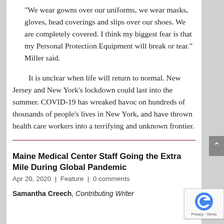“We wear gowns over our uniforms, we wear masks, gloves, head coverings and slips over our shoes. We are completely covered. I think my biggest fear is that my Personal Protection Equipment will break or tear.” Miller said.
It is unclear when life will return to normal. New Jersey and New York’s lockdown could last into the summer. COVID-19 has wreaked havoc on hundreds of thousands of people’s lives in New York, and have thrown health care workers into a terrifying and unknown frontier.
Maine Medical Center Staff Going the Extra Mile During Global Pandemic
Apr 20, 2020 | Feature | 0 comments
Samantha Creech, Contributing Writer